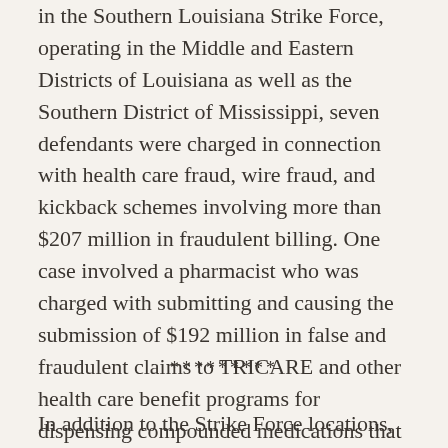in the Southern Louisiana Strike Force, operating in the Middle and Eastern Districts of Louisiana as well as the Southern District of Mississippi, seven defendants were charged in connection with health care fraud, wire fraud, and kickback schemes involving more than $207 million in fraudulent billing. One case involved a pharmacist who was charged with submitting and causing the submission of $192 million in false and fraudulent claims to TRICARE and other health care benefit programs for dispensing compounded medications that were not medically necessary and often based on prescriptions induced by illegal kickback payments.
*********
In addition to the Strike Force locations, today's